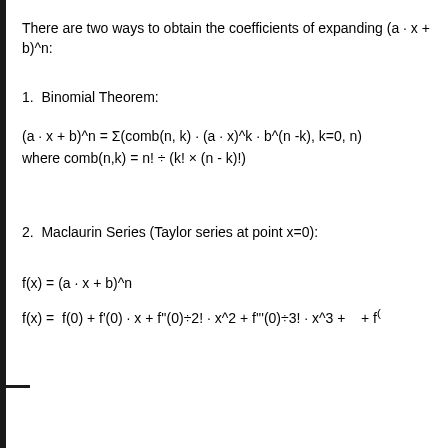There are two ways to obtain the coefficients of expanding (a · x + b)^n:
1.  Binomial Theorem:
2.  Maclaurin Series (Taylor series at point x=0):